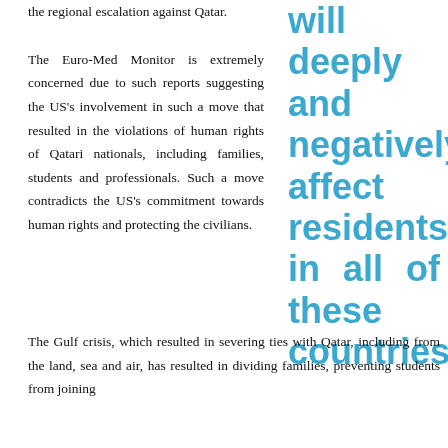the regional escalation against Qatar.
The Euro-Med Monitor is extremely concerned due to such reports suggesting the US's involvement in such a move that resulted in the violations of human rights of Qatari nationals, including families, students and professionals. Such a move contradicts the US's commitment towards human rights and protecting the civilians.
will deeply and negatively affect residents in all of these countries
The Gulf crisis, which resulted in severing ties with Qatar, including from the land, sea and air, has resulted in dividing families, preventing students from joining